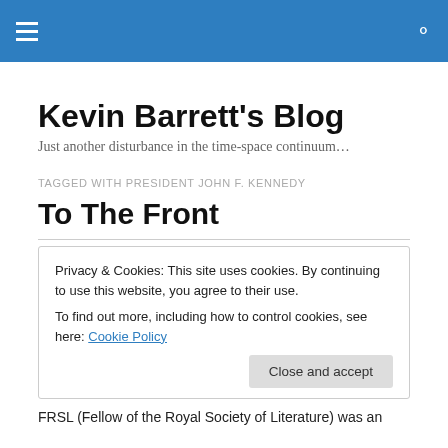Kevin Barrett's Blog — navigation bar
Kevin Barrett's Blog
Just another disturbance in the time-space continuum…
TAGGED WITH PRESIDENT JOHN F. KENNEDY
To The Front
Privacy & Cookies: This site uses cookies. By continuing to use this website, you agree to their use.
To find out more, including how to control cookies, see here: Cookie Policy
FRSL (Fellow of the Royal Society of Literature) was an